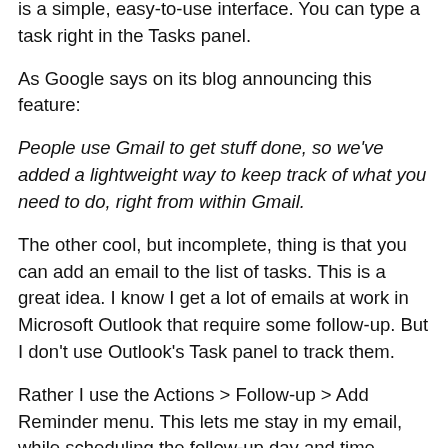is a simple, easy-to-use interface. You can type a task right in the Tasks panel.
As Google says on its blog announcing this feature:
People use Gmail to get stuff done, so we've added a lightweight way to keep track of what you need to do, right from within Gmail.
The other cool, but incomplete, thing is that you can add an email to the list of tasks. This is a great idea. I know I get a lot of emails at work in Microsoft Outlook that require some follow-up. But I don't use Outlook's Task panel to track them.
Rather I use the Actions > Follow-up > Add Reminder menu. This lets me stay in my email, while scheduling the follow-up day and time. Here's a shot of that feature in